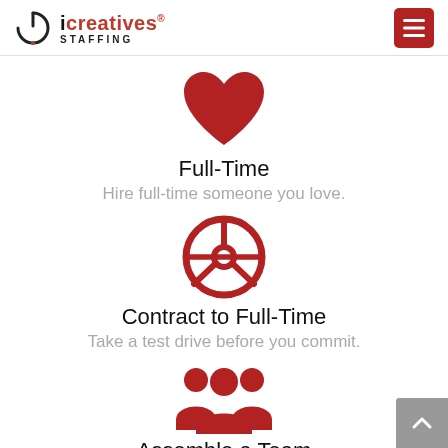iCreatives Staffing
[Figure (illustration): Red heart icon representing Full-Time hiring]
Full-Time
Hire full-time someone you love.
[Figure (illustration): Red steering wheel icon representing Contract to Full-Time]
Contract to Full-Time
Take a test drive before you commit.
[Figure (illustration): Red group/team icon representing Assemble a Team]
Assemble a Team